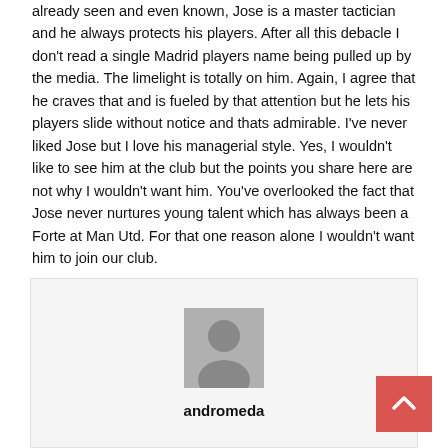already seen and even known, Jose is a master tactician and he always protects his players. After all this debacle I don't read a single Madrid players name being pulled up by the media. The limelight is totally on him. Again, I agree that he craves that and is fueled by that attention but he lets his players slide without notice and thats admirable. I've never liked Jose but I love his managerial style. Yes, I wouldn't like to see him at the club but the points you share here are not why I wouldn't want him. You've overlooked the fact that Jose never nurtures young talent which has always been a Forte at Man Utd. For that one reason alone I wouldn't want him to join our club.
[Figure (illustration): Generic user avatar placeholder image — gray silhouette of a person on a lighter gray background]
andromeda